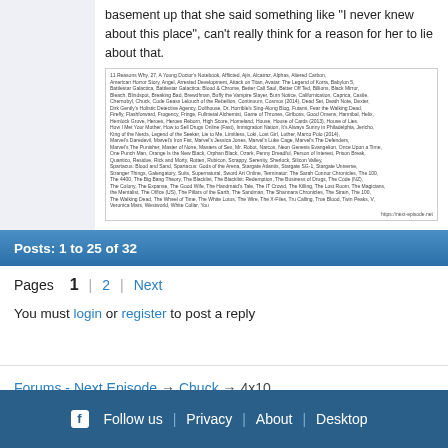basement up that she said something like "I never knew about this place", can't really think for a reason for her to lie about that.
[Figure (other): A screenshot of a TV show list from next-episode.net showing many TV show titles in small text.]
Posts: 1 to 25 of 32
Pages  1  |  2  |  Next
You must login or register to post a reply
Forums - Next Episode → Chuck → 4x10
Follow us | Privacy | About | Desktop